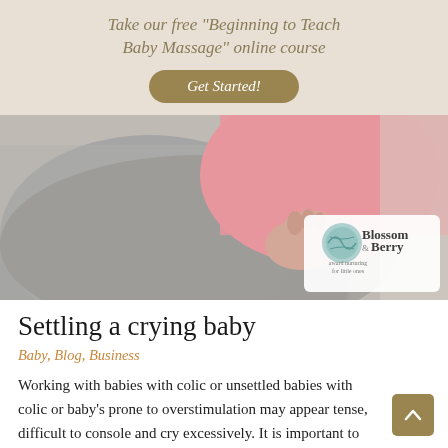Take our free "Beginning to Teach Baby Massage" online course
Get Started!
[Figure (photo): A baby wearing pink clothing clinging to an adult in a grey sweater, close-up view. Blossom & Berry logo overlay in bottom right corner with text 'award nurturing for little ones'.]
Settling a crying baby
Baby, Blog, Business
Working with babies with colic or unsettled babies with colic or baby's prone to overstimulation may appear tense, difficult to console and cry excessively. It is important to